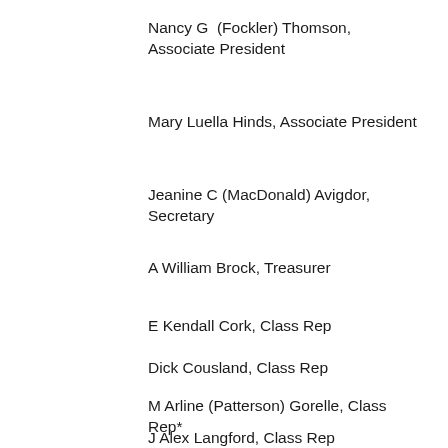Nancy G  (Fockler) Thomson, Associate President
Mary Luella Hinds, Associate President
Jeanine C (MacDonald) Avigdor, Secretary
A William Brock, Treasurer
E Kendall Cork, Class Rep
Dick Cousland, Class Rep
M Arline (Patterson) Gorelle, Class Rep*
J Alex Langford, Class Rep